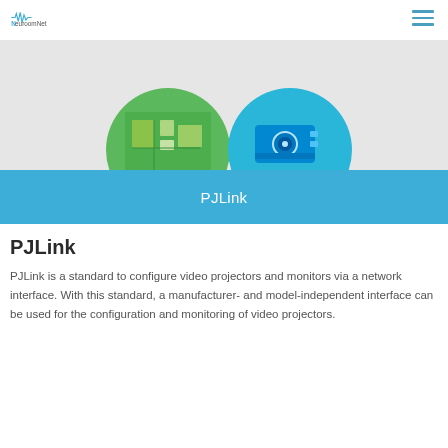NeuroomNet
[Figure (illustration): Two circular icons partially visible: one green with a floor plan/building interior image, one blue with a camera/projector device icon, on a light gray background.]
PJLink
PJLink
PJLink is a standard to configure video projectors and monitors via a network interface. With this standard, a manufacturer- and model-independent interface can be used for the configuration and monitoring of video projectors.